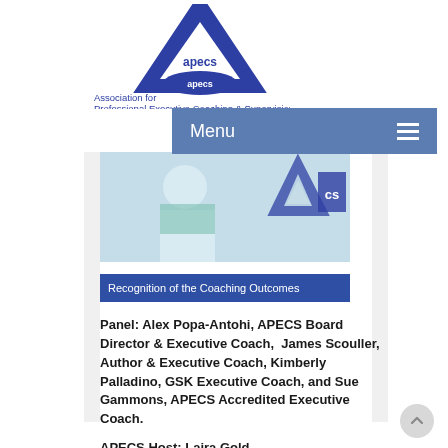[Figure (logo): APECS logo — blue triangle with 'apecs' text inside and 'Association for Professional Executive Coaching & Supervision' below]
[Figure (screenshot): Navigation menu bar showing 'Menu' text with hamburger icon on blue background]
[Figure (photo): Banner image showing person with APECS triangle logo overlay and caption 'Recognition of the Coaching Outcomes' on blue background]
Panel: Alex Popa-Antohi, APECS Board Director & Executive Coach, James Scouller, Author & Executive Coach, Kimberly Palladino, GSK Executive Coach, and Sue Gammons, APECS Accredited Executive Coach.
APECS Host: Laira Gold.